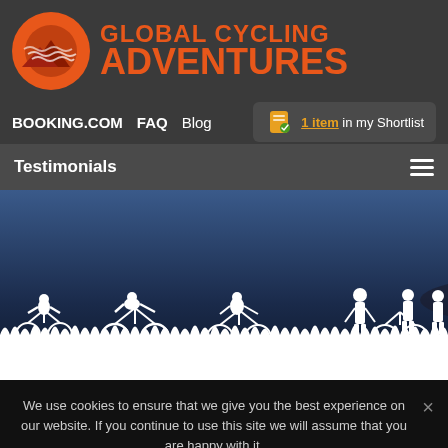[Figure (logo): Global Cycling Adventures logo with orange mountain/sun circle icon and orange bold text reading GLOBAL CYCLING ADVENTURES]
BOOKING.COM   FAQ   Blog   1 item in my Shortlist
Testimonials
[Figure (illustration): Hero image showing white silhouettes of cyclists on bikes and people standing, with a boat in background, against a dark blue night sky with grass at bottom. Partial white text visible at bottom.]
We use cookies to ensure that we give you the best experience on our website. If you continue to use this site we will assume that you are happy with it.
Ok
Privacy policy